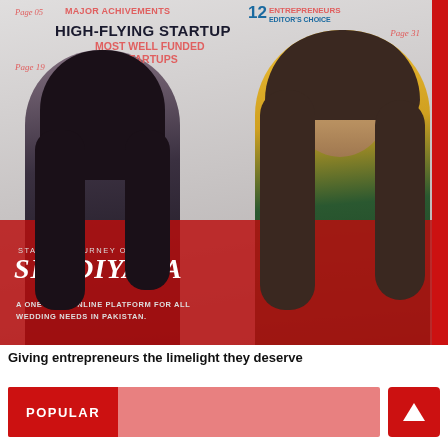[Figure (photo): Magazine cover showing two women entrepreneurs. Left woman has long dark straight hair wearing a dark top. Right woman has curly hair wearing a yellow turtleneck and green jacket. Cover text includes HIGH-FLYING STARTUP, MOST WELL FUNDED STARTUPS, MAJOR ACHIVEMENTS, 12 ENTREPRENEURS EDITOR'S CHOICE, and Shadiyana startup story overlay on red band.]
Giving entrepreneurs the limelight they deserve
POPULAR